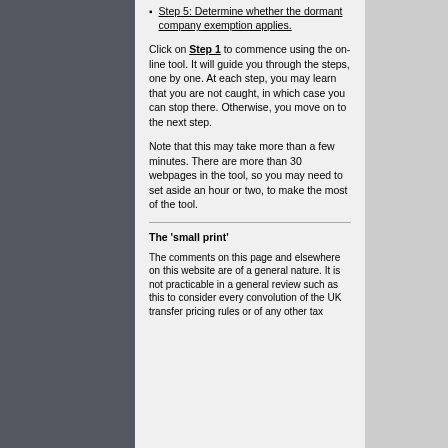Step 5: Determine whether the dormant company exemption applies.
Click on Step 1 to commence using the on-line tool. It will guide you through the steps, one by one. At each step, you may learn that you are not caught, in which case you can stop there. Otherwise, you move on to the next step.
Note that this may take more than a few minutes. There are more than 30 webpages in the tool, so you may need to set aside an hour or two, to make the most of the tool.
The 'small print'
The comments on this page and elsewhere on this website are of a general nature. It is not practicable in a general review such as this to consider every convolution of the UK transfer pricing rules or of any other tax